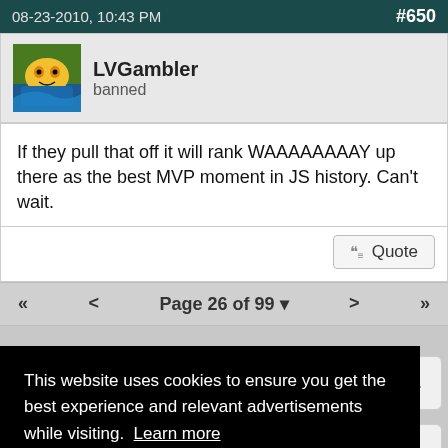08-23-2010, 10:43 PM   #650
LVGambler
banned
If they pull that off it will rank WAAAAAAAAY up there as the best MVP moment in JS history. Can't wait.
Page 26 of 99
This website uses cookies to ensure you get the best experience and relevant advertisements while visiting. Learn more
Got it!